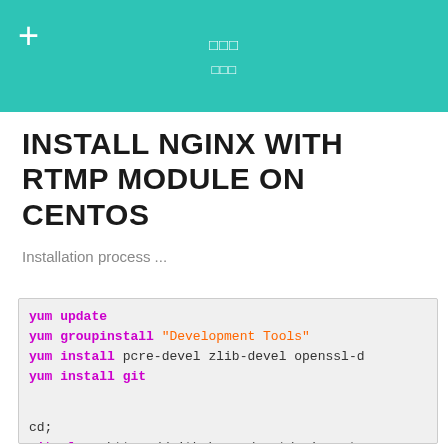□□□
□□□
INSTALL NGINX WITH RTMP MODULE ON CENTOS
Installation process ...
yum update
yum groupinstall "Development Tools"
yum install pcre-devel zlib-devel openssl-d
yum install git

cd;
git clone https://github.com/arut/nginx-rtm
git clone https://github.com/nginx/nginx.gi
cd nginx;
./auto/configure --prefix=/etc/nginx --add-
make;
make install;